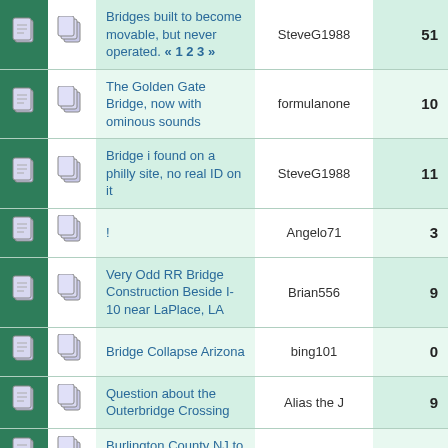|  |  | Topic | Author | Replies |
| --- | --- | --- | --- | --- |
| [icon] | [icon] | Bridges built to become movable, but never operated. « 1 2 3 » | SteveG1988 | 51 |
| [icon] | [icon] | The Golden Gate Bridge, now with ominous sounds | formulanone | 10 |
| [icon] | [icon] | Bridge i found on a philly site, no real ID on it | SteveG1988 | 11 |
| [icon] | [icon] | ! | Angelo71 | 3 |
| [icon] | [icon] | Very Odd RR Bridge Construction Beside I-10 near LaPlace, LA | Brian556 | 9 |
| [icon] | [icon] | Bridge Collapse Arizona | bing101 | 0 |
| [icon] | [icon] | Question about the Outerbridge Crossing | Alias the J | 9 |
| [icon] | [icon] | Burlington County NJ to build a ... | SteveG1988 | 21 |